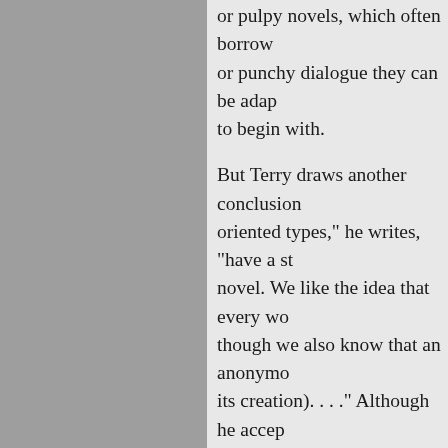or pulpy novels, which often borrow or punchy dialogue they can be adapted to begin with.
But Terry draws another conclusion oriented types," he writes, "have a strong novel. We like the idea that every wo though we also know that an anonymous its creation). . . ." Although he accepts a difference between knowing that the confidence to buy an unsigned painting. Most of us aren't nearly so sure of our corner." Speaking as a "prose-oriented form than the novel," just that it's different most peculiar in this passage, however, Terry Teachout to express such a preference is the product of individual vision. Were that not just one or two of them had them, even some of the best ones? I